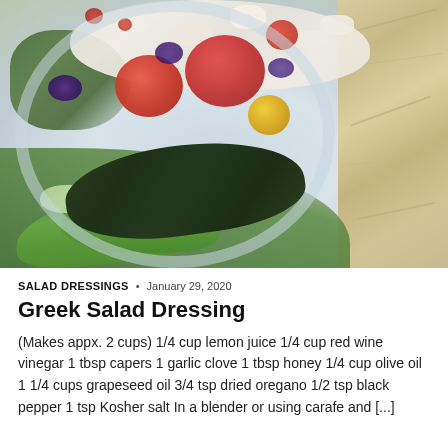[Figure (photo): A white bowl containing Greek salad with feta cheese, cherry tomatoes, cucumber, olives, dark green stuffed grape leaf, lettuce, and other vegetables on a marble surface]
SALAD DRESSINGS  •  January 29, 2020
Greek Salad Dressing
(Makes appx. 2 cups) 1/4 cup lemon juice 1/4 cup red wine vinegar 1 tbsp capers 1 garlic clove 1 tbsp honey 1/4 cup olive oil 1 1/4 cups grapeseed oil 3/4 tsp dried oregano 1/2 tsp black pepper 1 tsp Kosher salt In a blender or using carafe and [...]